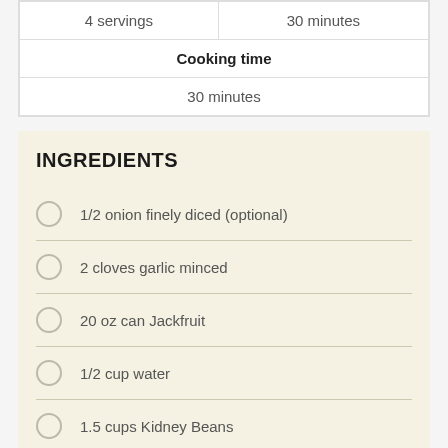| 4 servings | 30 minutes |
| Cooking time |  |
| 30 minutes |  |
INGREDIENTS
1/2 onion finely diced (optional)
2 cloves garlic minced
20 oz can Jackfruit
1/2 cup water
1.5 cups Kidney Beans